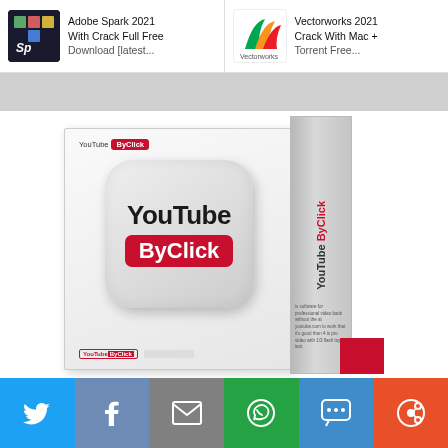[Figure (screenshot): Navigation bar with two article links: 'Adobe Spark 2021 With Crack Full Free Download [latest...' with Adobe Spark thumbnail, and 'Vectorworks 2021 Crack With Mac + Torrent Free...' with Vectorworks logo thumbnail]
[Figure (photo): YouTube ByClick software product box image showing the software box with logo icon featuring 'YouTube' in dark text and 'ByClick' in white text on red background, with side panel showing vertical text 'YouTube ByClick']
[Figure (infographic): Social sharing buttons bar at bottom: Twitter (blue), Facebook (gray-blue), Email (gray), WhatsApp (green), SMS (blue), Share/other (orange-red)]